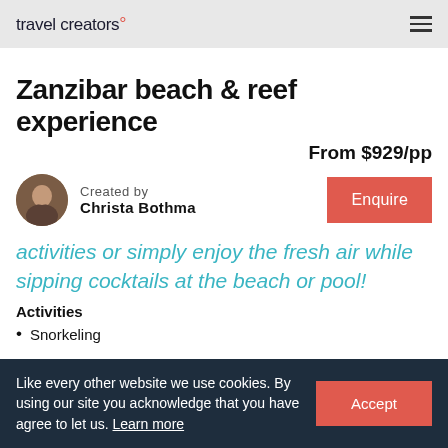travel creators
Zanzibar beach & reef experience
From $929/pp
Created by
Christa Bothma
activities or simply enjoy the fresh air while sipping cocktails at the beach or pool!
Activities
Snorkeling
Like every other website we use cookies. By using our site you acknowledge that you have agree to let us. Learn more